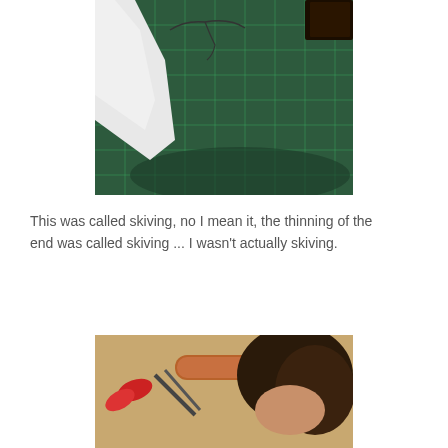[Figure (photo): A photograph of a green cutting mat with grid lines, with white fabric/felt pieces and black thread visible, along with what appears to be a dark leather item in the upper right corner.]
This was called skiving, no I mean it, the thinning of the end was called skiving ... I wasn't actually skiving.
[Figure (photo): A photograph showing crafting tools including red-handled scissors and other implements, with a person partially visible in the background.]